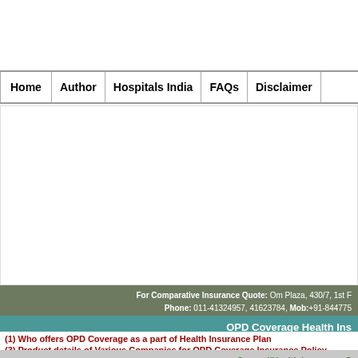Home | Author | Hospitals India | FAQs | Disclaimer
[Figure (other): White blank content/advertisement area]
For Comparative Insurance Quote: Om Plaza, 430/7, 1st F... Phone: 011-41324957, 41623784, Mob:+91-844775...
OPD Coverage Health Ins...
(1) Who offers OPD Coverage as a part of Health Insurance Plan
(3) Product details of Various Companies for OPD Coverage Insurance Policy
General/Health Insurance C...